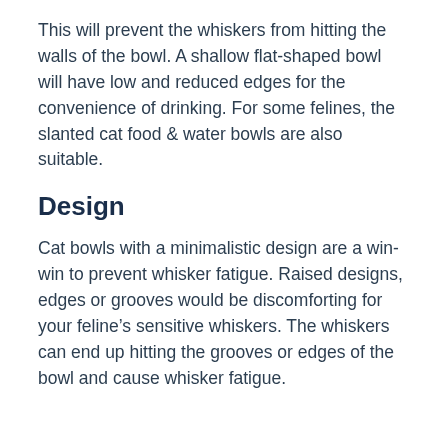This will prevent the whiskers from hitting the walls of the bowl. A shallow flat-shaped bowl will have low and reduced edges for the convenience of drinking. For some felines, the slanted cat food & water bowls are also suitable.
Design
Cat bowls with a minimalistic design are a win-win to prevent whisker fatigue. Raised designs, edges or grooves would be discomforting for your feline's sensitive whiskers. The whiskers can end up hitting the grooves or edges of the bowl and cause whisker fatigue.